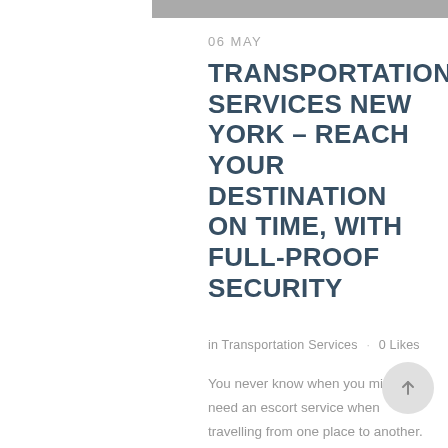[Figure (photo): Top portion of a photo strip visible at top of page]
06 MAY
TRANSPORTATION SERVICES NEW YORK – REACH YOUR DESTINATION ON TIME, WITH FULL-PROOF SECURITY
in Transportation Services · 0 Likes
You never know when you might need an escort service when travelling from one place to another. People have different theories when it comes to